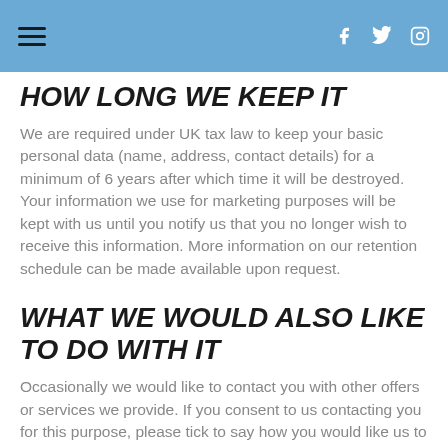HOW LONG WE KEEP IT [navigation header with hamburger menu and social icons]
HOW LONG WE KEEP IT
We are required under UK tax law to keep your basic personal data (name, address, contact details) for a minimum of 6 years after which time it will be destroyed. Your information we use for marketing purposes will be kept with us until you notify us that you no longer wish to receive this information. More information on our retention schedule can be made available upon request.
WHAT WE WOULD ALSO LIKE TO DO WITH IT
Occasionally we would like to contact you with other offers or services we provide. If you consent to us contacting you for this purpose, please tick to say how you would like us to contact you. We would also...